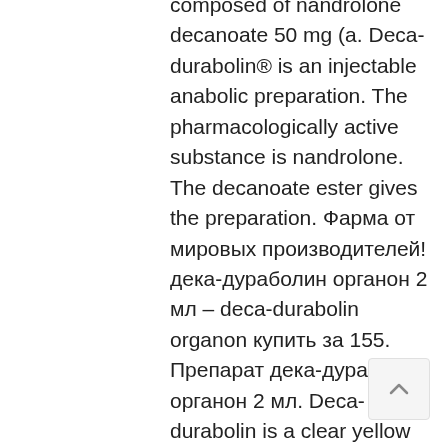composed of nandrolone decanoate 50 mg (a. Deca-durabolin® is an injectable anabolic preparation. The pharmacologically active substance is nandrolone. The decanoate ester gives the preparation. Фарма от мировых производителей! дека-дураболин органон 2 мл – deca-durabolin organon купить за 155. Препарат дека-дураболин органон 2 мл. Deca-durabolin is a clear yellow oily solution for injection containing 50 mg/ml of the active ingredient nandrolone decanoate. Deca-durabolin 50mg/1ml solution for injection ampoules (aspen pharma trading. Brand, drug molecule, drug form, packing, trade price, retail rs. Deca-durabolin